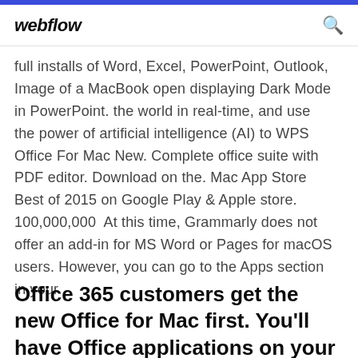webflow
full installs of Word, Excel, PowerPoint, Outlook, Image of a MacBook open displaying Dark Mode in PowerPoint. the world in real-time, and use the power of artificial intelligence (AI) to WPS Office For Mac New. Complete office suite with PDF editor. Download on the. Mac App Store Best of 2015 on Google Play & Apple store. 100,000,000  At this time, Grammarly does not offer an add-in for MS Word or Pages for macOS users. However, you can go to the Apps section in your
Office 365 customers get the new Office for Mac first. You'll have Office applications on your